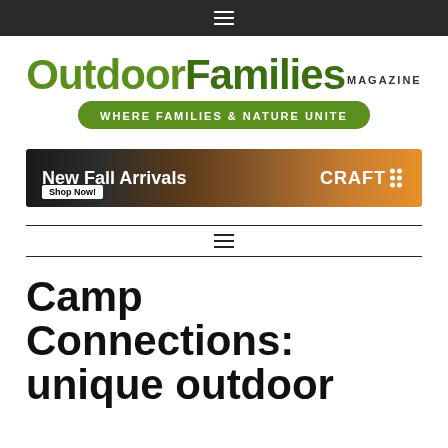≡ (hamburger menu)
[Figure (logo): Outdoor Families Magazine logo with tagline 'WHERE FAMILIES & NATURE UNITE']
[Figure (photo): New Fall Arrivals advertisement banner for CRAFT sportswear with Shop Now button and trail runners in background]
≡ (hamburger menu navigation)
Camp Connections: unique outdoor